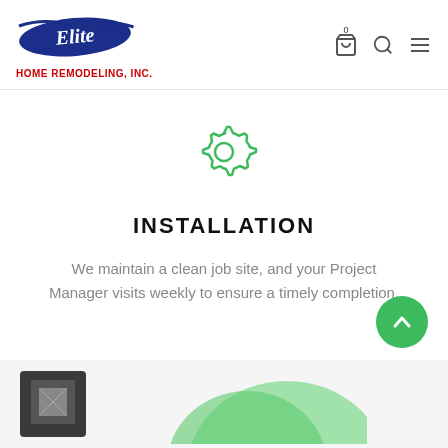[Figure (logo): Elite Home Remodeling, Inc. logo — blue swoosh background with white italic 'Elite' script text, and red bold 'HOME REMODELING, INC.' text below]
[Figure (other): Navigation icons: shopping cart with '0' badge, search magnifier, hamburger menu]
[Figure (other): Green gear/settings icon]
INSTALLATION
We maintain a clean job site, and your Project Manager visits weekly to ensure a timely completion.
[Figure (other): Green circular back-to-top button with upward chevron arrow]
[Figure (other): Bottom partial area showing a thumbnail image placeholder and partial green circular image]